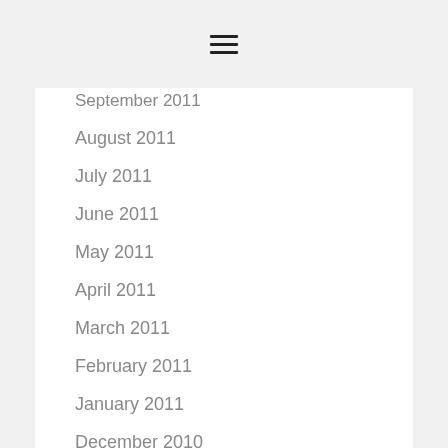≡
September 2011
August 2011
July 2011
June 2011
May 2011
April 2011
March 2011
February 2011
January 2011
December 2010
November 2010
October 2010
September 2010
August 2010